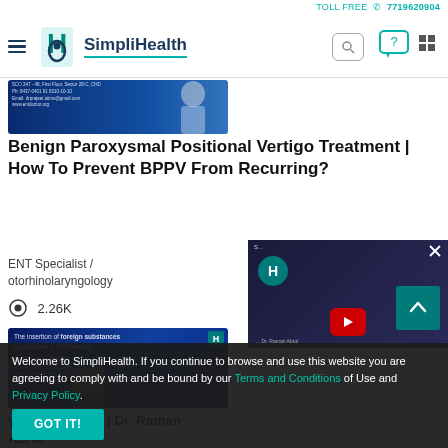TOLL FREE 7719620904
[Figure (logo): SimplliHealth logo with hamburger menu, search box, chat icon and grid icon]
[Figure (screenshot): Thumbnail image for BPPV video with doctor in background]
Benign Paroxysmal Positional Vertigo Treatment | How To Prevent BPPV From Recurring?
ENT Specialist / otorhinolaryngology
2.26K
[Figure (screenshot): Thumbnail for video about foreign substances inserted by children in their noses - Dr. Raman Abrol]
your child safe | Dr. Raman Abrol
Welcome to SimpliHealth. If you continue to browse and use this website you are agreeing to comply with and be bound by our Terms and Conditions of Use and Privacy Policy.